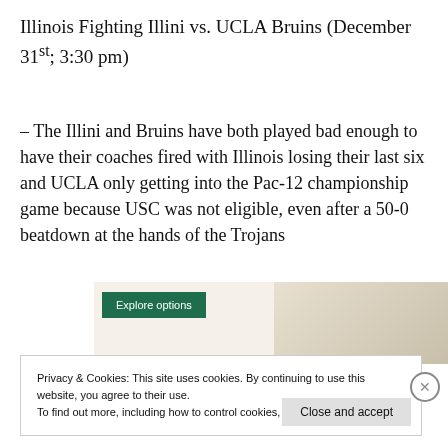Illinois Fighting Illini vs. UCLA Bruins (December 31st; 3:30 pm)
– The Illini and Bruins have both played bad enough to have their coaches fired with Illinois losing their last six and UCLA only getting into the Pac-12 championship game because USC was not eligible, even after a 50-0 beatdown at the hands of the Trojans
[Figure (screenshot): Partially visible advertisement showing a green 'Explore options' button and food images on a beige background]
Privacy & Cookies: This site uses cookies. By continuing to use this website, you agree to their use.
To find out more, including how to control cookies, see here: Cookie Policy